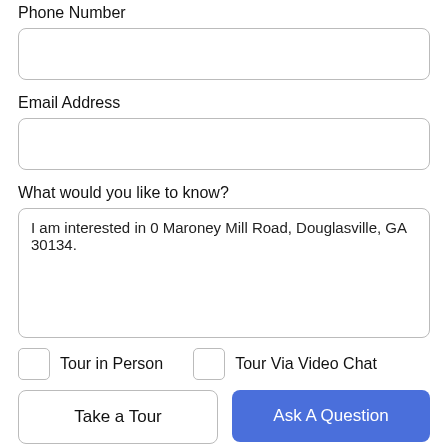Phone Number
Email Address
What would you like to know?
I am interested in 0 Maroney Mill Road, Douglasville, GA 30134.
Tour in Person    Tour Via Video Chat
Take a Tour    Ask A Question